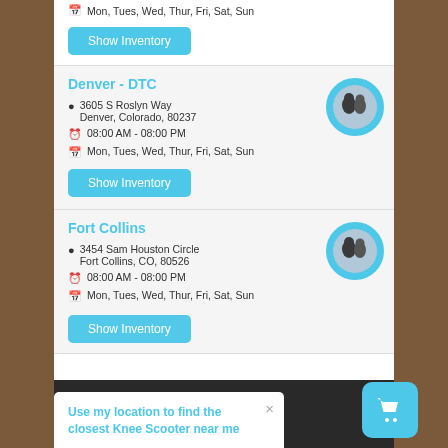Mon, Tues, Wed, Thur, Fri, Sat, Sun
Show Inventory
Denver - DTC
3605 S Roslyn Way Denver, Colorado, 80237
08:00 AM - 08:00 PM
Mon, Tues, Wed, Thur, Fri, Sat, Sun
Show Inventory
Fort Collins
3454 Sam Houston Circle Fort Collins, CO, 80526
08:00 AM - 08:00 PM
Mon, Tues, Wed, Thur, Fri, Sat, Sun
Show Inventory
Use my location to find the closest Knee Scooter near me